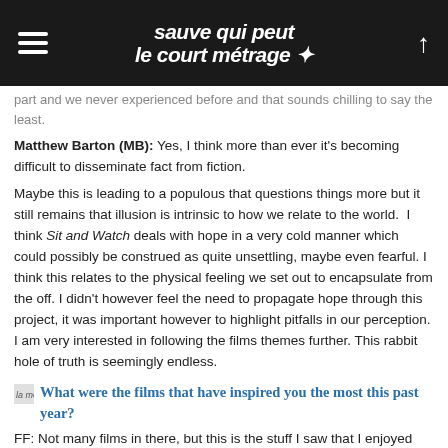sauve qui peut le court métrage [logo with icon]
part and we never experienced before and that sounds chilling to say the least.
Matthew Barton (MB): Yes, I think more than ever it's becoming difficult to disseminate fact from fiction.
Maybe this is leading to a populous that questions things more but it still remains that illusion is intrinsic to how we relate to the world.  I think Sit and Watch deals with hope in a very cold manner which could possibly be construed as quite unsettling, maybe even fearful. I think this relates to the physical feeling we set out to encapsulate from the off. I didn't however feel the need to propagate hope through this project, it was important however to highlight pitfalls in our perception. I am very interested in following the films themes further. This rabbit hole of truth is seemingly endless.
What were the films that have inspired you the most this past year?
FF: Not many films in there, but this is the stuff I saw that I enjoyed the most: Operation Avalanche, by Matt Johnson. This house has people in it, Unedited Footage of a Bear, alantutorial by Alan Resnick. American Crime Story: OJ Simpson, I think deals with